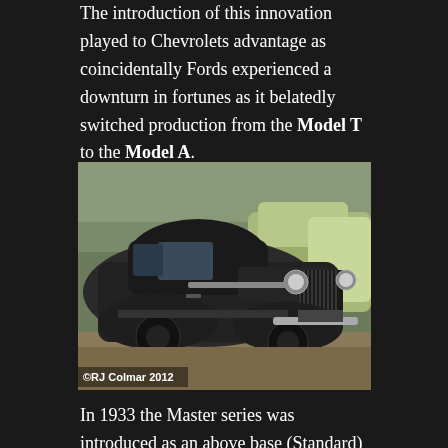The introduction of this innovation played to Chevrolets advantage as coincidentally Fords experienced a downturn in fortunes as it belatedly switched production from the Model T to the Model A.
[Figure (photo): A vintage black automobile (late 1930s Chevrolet) parked with two light green/cream vintage cars visible in the background. Photo credit: ©RJ Colmar 2012]
In 1933 the Master series was introduced as an above base (Standard) range of vehicles and in 1937 this series received an 85 hp 3.5 litre / 216 cui six cylinder motor from